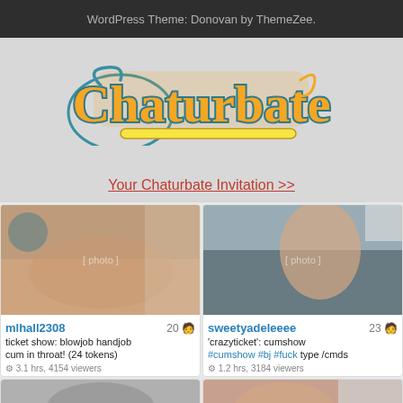WordPress Theme: Donovan by ThemeZee.
[Figure (logo): Chaturbate logo - orange and teal cursive text with yellow underline stroke]
Your Chaturbate Invitation >>
[Figure (photo): mlhall2308 - ticket show: blowjob handjob cum in throat! (24 tokens) - 3.1 hrs, 4154 viewers - age 20]
[Figure (photo): sweetyadeleeee - 'crazyticket': cumshow #cumshow #bj #fuck type /cmds - 1.2 hrs, 3184 viewers - age 23]
[Figure (photo): Bottom left card partial image]
[Figure (photo): Bottom right card partial image]